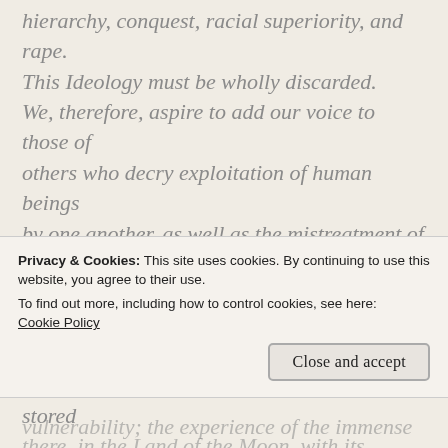story, the story of expansion, greed, the hierarchy, conquest, racial superiority, and rape. This Ideology must be wholly discarded. We, therefore, aspire to add our voice to those of others who decry exploitation of human beings by one another, as well as the mistreatment of other species and of our exhausted biosphere. We wish to encourage a return to our roots, embedded in an ancient memory that is stored there, in the Land of the Moon, with its eternal
Privacy & Cookies: This site uses cookies. By continuing to use this website, you agree to their use. To find out more, including how to control cookies, see here: Cookie Policy
vulnerability; the experience of the immense